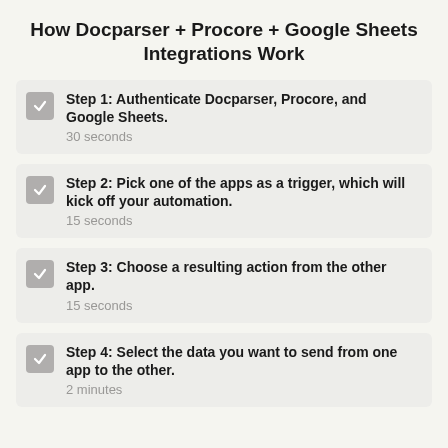How Docparser + Procore + Google Sheets Integrations Work
Step 1: Authenticate Docparser, Procore, and Google Sheets.
30 seconds
Step 2: Pick one of the apps as a trigger, which will kick off your automation.
15 seconds
Step 3: Choose a resulting action from the other app.
15 seconds
Step 4: Select the data you want to send from one app to the other.
2 minutes